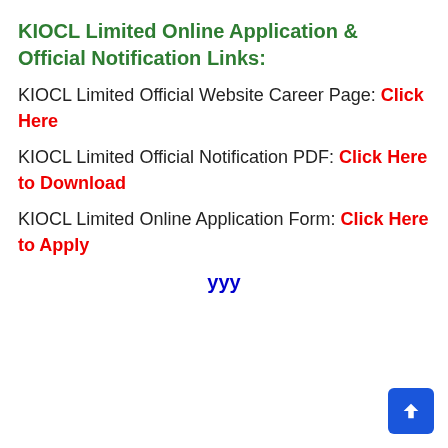KIOCL Limited Online Application & Official Notification Links:
KIOCL Limited Official Website Career Page: Click Here
KIOCL Limited Official Notification PDF: Click Here to Download
KIOCL Limited Online Application Form: Click Here to Apply
yyy